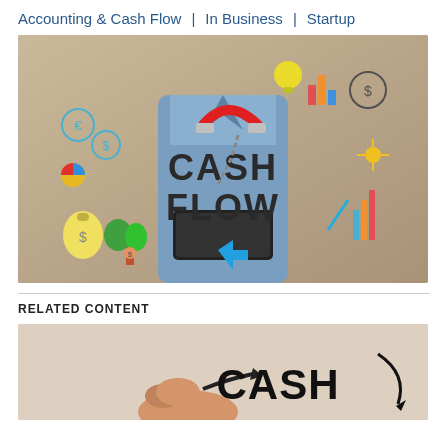Accounting & Cash Flow | In Business | Startup
[Figure (photo): A person in a blue shirt holding a tablet device, surrounded by illustrated finance and business icons (charts, currency symbols, pie charts, money bags, plants), with large text 'CASH FLOW' in bold lettering in the center of the image.]
RELATED CONTENT
[Figure (photo): A close-up image showing a hand and the word 'CASH' in bold black text, appearing to be part of a cash flow related graphic or diagram.]